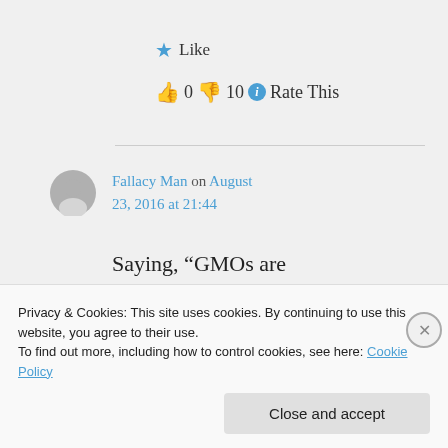★ Like
👍 0 👎 10 ℹ Rate This
Fallacy Man on August 23, 2016 at 21:44
Saying, "GMOs are bad because Germans say they
Privacy & Cookies: This site uses cookies. By continuing to use this website, you agree to their use. To find out more, including how to control cookies, see here: Cookie Policy
Close and accept